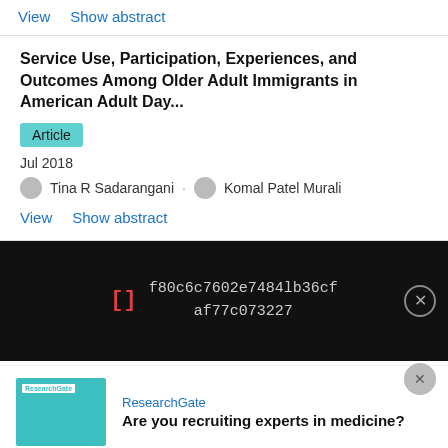View   Show abstract
Service Use, Participation, Experiences, and Outcomes Among Older Adult Immigrants in American Adult Day...
Article
Jul 2018
Tina R Sadarangani · Komal Patel Murali
View   Show abstract
[Figure (screenshot): Black overlay bar with bracket icon in red and hash string: f80c6c7602e7484lb36cf af77c073227, with a close (X) button]
[Figure (infographic): ResearchGate advertisement banner with teal image box on left and text: ResearchGate / Are you recruiting experts in medicine?]